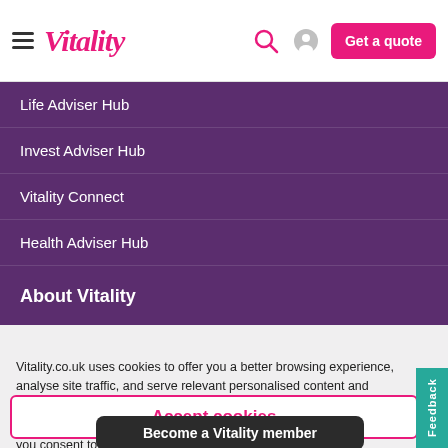Vitality — Get a quote
Life Adviser Hub
Invest Adviser Hub
Vitality Connect
Health Adviser Hub
About Vitality
Vitality.co.uk uses cookies to offer you a better browsing experience, analyse site traffic, and serve relevant personalised content and advertisements. Read about how we use cookies and how you can control them in our cookie policy. If you continue to use this site, you consent to use our use of cookies.
Accept cookies
Become a Vitality member